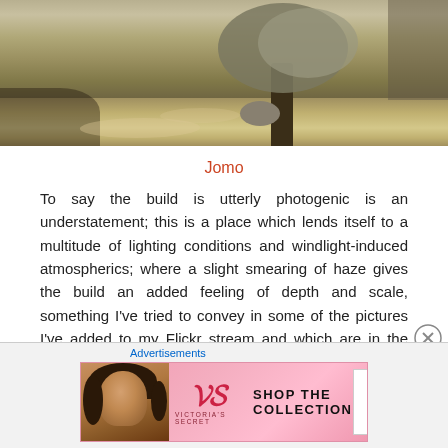[Figure (photo): Outdoor scene with trees, rocks, and ground with dappled light and shadows]
Jomo
To say the build is utterly photogenic is an understatement; this is a place which lends itself to a multitude of lighting conditions and windlight-induced atmospherics; where a slight smearing of haze gives the build an added feeling of depth and scale, something I've tried to convey in some of the pictures I've added to my Flickr stream and which are in the slideshow below. I know I could happily spend the better part of a day taking snaps and experimenting with windlight while
Advertisements
[Figure (photo): Victoria's Secret advertisement banner with model and SHOP THE COLLECTION text]